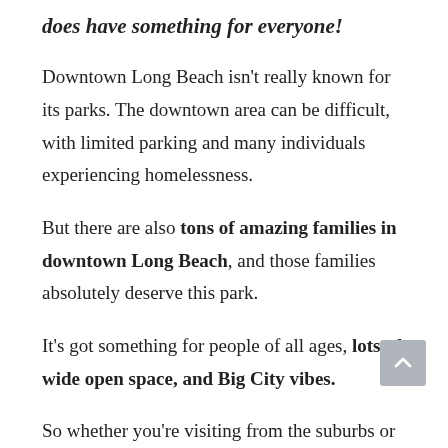does have something for everyone!
Downtown Long Beach isn't really known for its parks. The downtown area can be difficult, with limited parking and many individuals experiencing homelessness.
But there are also tons of amazing families in downtown Long Beach, and those families absolutely deserve this park.
It's got something for people of all ages, lots of wide open space, and Big City vibes.
So whether you're visiting from the suburbs or live in